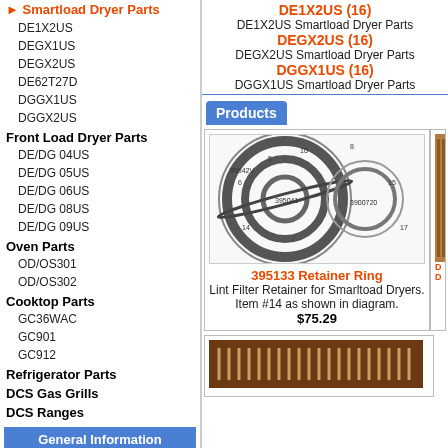Smartload Dryer Parts
DE1X2US
DEGX1US
DEGX2US
DE62T27D
DGGX1US
DGGX2US
Front Load Dryer Parts
DE/DG 04US
DE/DG 05US
DE/DG 06US
DE/DG 08US
DE/DG 09US
Oven Parts
OD/OS301
OD/OS302
Cooktop Parts
GC36WAC
GC901
GC912
Refrigerator Parts
DCS Gas Grills
DCS Ranges
General Information
Tech Support
Use and Care Guides
Contact Info
Company Info
Terms of Service
Privacy Policy
Shipping Info
Site Map
Home
DE1X2US (16)
DE1X2US Smartload Dryer Parts
DEGX2US (16)
DEGX2US Smartload Dryer Parts
DGGX1US (16)
DGGX1US Smartload Dryer Parts
Products
[Figure (engineering-diagram): Exploded engineering diagram of dryer drum ring components with part numbers]
395133 Retainer Ring
Lint Filter Retainer for Smarltoad Dryers. Item #14 as shown in diagram.
$75.29
[Figure (photo): Photo of dryer heating element part]